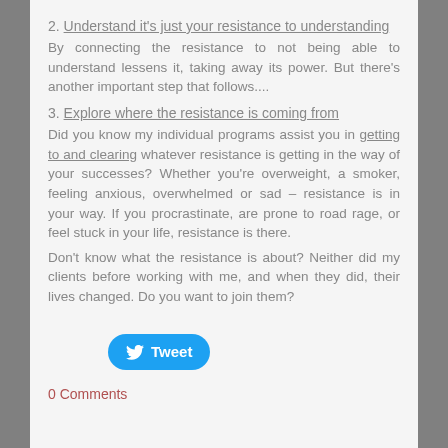2. Understand it's just your resistance to understanding
By connecting the resistance to not being able to understand lessens it, taking away its power. But there's another important step that follows....
3. Explore where the resistance is coming from
Did you know my individual programs assist you in getting to and clearing whatever resistance is getting in the way of your successes? Whether you're overweight, a smoker, feeling anxious, overwhelmed or sad – resistance is in your way. If you procrastinate, are prone to road rage, or feel stuck in your life, resistance is there.
Don't know what the resistance is about? Neither did my clients before working with me, and when they did, their lives changed. Do you want to join them?
[Figure (other): Tweet button with Twitter bird icon]
0 Comments